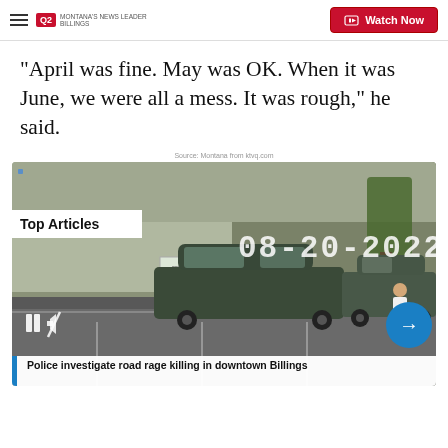Q2 Montana's News Leader Billings | Watch Now
“April was fine. May was OK. When it was June, we were all a mess. It was rough,” he said.
Source: Montana from ktvq.com
[Figure (screenshot): CCTV surveillance footage dated 08-20-2022 showing a parking lot/road scene with cars and a pedestrian. Overlaid 'Top Articles' badge and video playback controls (pause, mute). Blue arrow button at bottom right. Article title overlay: 'Police investigate road rage killing in downtown Billings']